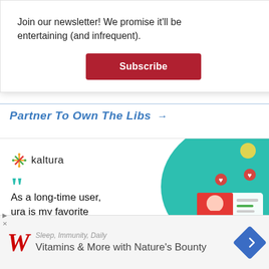Join our newsletter! We promise it'll be entertaining (and infrequent).
Subscribe
Partner To Own The Libs →
[Figure (screenshot): Kaltura advertisement with logo, testimonial quote 'As a long-time user, ...ura is my favorite', G2 badge, and product illustration on teal background]
[Figure (screenshot): Walgreens advertisement: Sleep, Immunity, Daily Vitamins & More with Nature's Bounty, with Walgreens W logo and navigation icon]